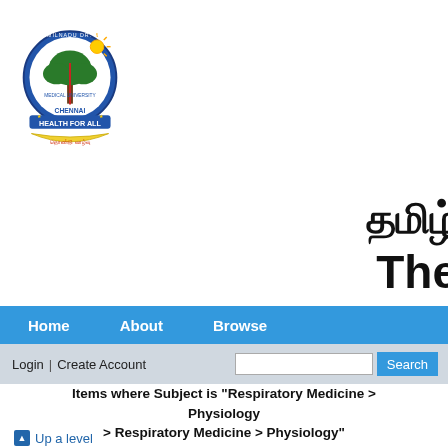[Figure (logo): Tamilnadu Dr. M.G.R. Medical University Chennai logo with tree, sun, and 'Health For All' banner]
தமிழ்
The
Home  About  Browse
Login | Create Account   Search
Items where Subject is "Respiratory Medicine > Physiology > Respiratory Medicine > Physiology"
Up a level